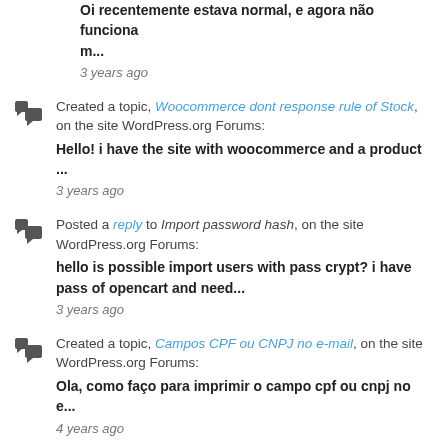Oi recentemente estava normal, e agora não funciona m...
3 years ago
Created a topic, Woocommerce dont response rule of Stock, on the site WordPress.org Forums:
Hello! i have the site with woocommerce and a product ...
3 years ago
Posted a reply to Import password hash, on the site WordPress.org Forums:
hello is possible import users with pass crypt? i have pass of opencart and need...
3 years ago
Created a topic, Campos CPF ou CNPJ no e-mail, on the site WordPress.org Forums:
Ola, como faço para imprimir o campo cpf ou cnpj no e...
4 years ago
Posted a reply to Plugin não funciona em variável, on the site WordPress.org Forums:
Oi Mario Obrigado! Eu acho que agora foi kkk fiz o